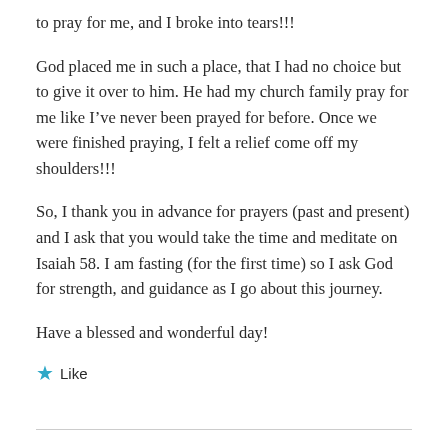to pray for me, and I broke into tears!!!
God placed me in such a place, that I had no choice but to give it over to him. He had my church family pray for me like I’ve never been prayed for before. Once we were finished praying, I felt a relief come off my shoulders!!!
So, I thank you in advance for prayers (past and present) and I ask that you would take the time and meditate on Isaiah 58. I am fasting (for the first time) so I ask God for strength, and guidance as I go about this journey.
Have a blessed and wonderful day!
★ Like